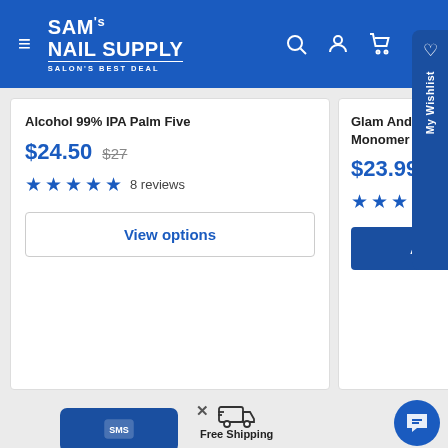[Figure (screenshot): Sam's Nail Supply website header with logo, hamburger menu, and navigation icons (search, user, cart)]
Alcohol 99% IPA Palm Five
$24.50  $27
★★★★★ 8 reviews
View options
Glam And Gifts Liquid Monomer
$23.99  $35
★★★★★ 6 reviews
Add to cart
[Figure (infographic): SMS chat popup icon, Free Shipping truck icon, and chat support bubble at bottom of page]